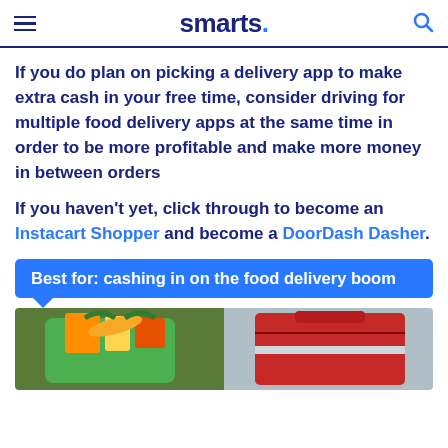smarts.
If you do plan on picking a delivery app to make extra cash in your free time, consider driving for multiple food delivery apps at the same time in order to be more profitable and make more money in between orders
If you haven't yet, click through to become an Instacart Shopper and become a DoorDash Dasher.
Best for: cashing in on the food delivery boom
[Figure (photo): Photo showing a green grocery bag full of items on the left and a red insulated delivery bag on the right]